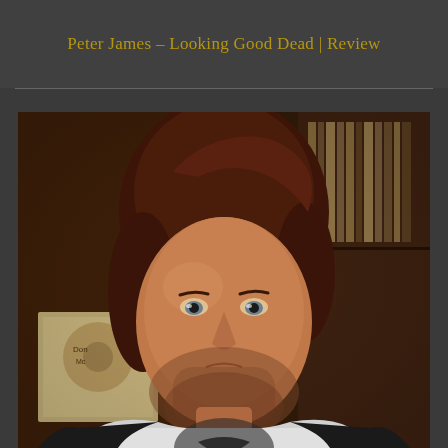Peter James – Looking Good Dead | Review
[Figure (photo): Portrait photo of a young man with medium-length dark reddish-brown hair, beard stubble, wearing a black and white raglan baseball t-shirt with a graphic print. He is standing in front of a wooden bookshelf filled with books/vinyl records. The photo has a warm, slightly dark tone.]